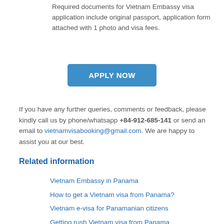Required documents for Vietnam Embassy visa application include original passport, application form attached with 1 photo and visa fees.
APPLY NOW
If you have any further queries, comments or feedback, please kindly call us by phone/whatsapp +84-912-685-141 or send an email to vietnamvisabooking@gmail.com. We are happy to assist you at our best.
Related information
Vietnam Embassy in Panama
How to get a Vietnam visa from Panama?
Vietnam e-visa for Panamanian citizens
Getting rush Vietnam visa from Panama
Useful information about Vietnam visa and tips